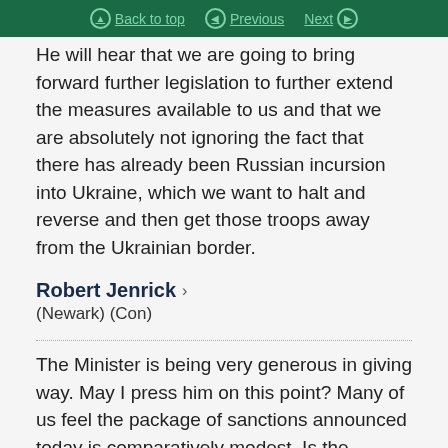Back to top | Previous | Next
He will hear that we are going to bring forward further legislation to further extend the measures available to us and that we are absolutely not ignoring the fact that there has already been Russian incursion into Ukraine, which we want to halt and reverse and then get those troops away from the Ukrainian border.
Robert Jenrick › (Newark) (Con)
The Minister is being very generous in giving way. May I press him on this point? Many of us feel the package of sanctions announced today is comparatively modest. Is the Government strategy that further sanctions will come forward in the days